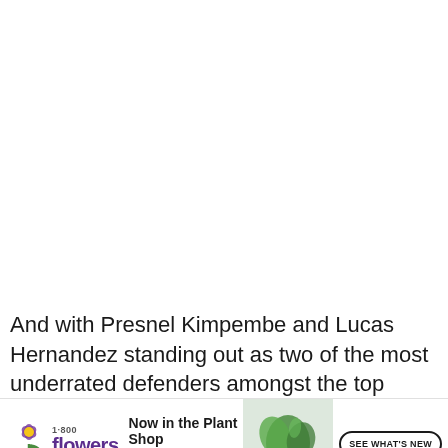And with Presnel Kimpembe and Lucas Hernandez standing out as two of the most underrated defenders amongst the top nations, I anticipate
[Figure (other): 1-800-Flowers.com advertisement banner with logo, plant shop promotion text, plant image, and 'SEE WHAT'S NEW' call-to-action button]